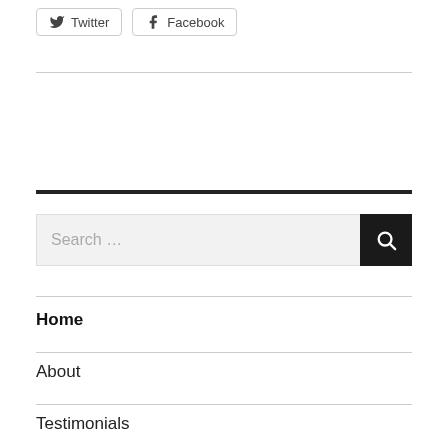[Figure (screenshot): Social share buttons: Twitter and Facebook]
[Figure (screenshot): Search bar with magnifier button]
Home
About
Testimonials